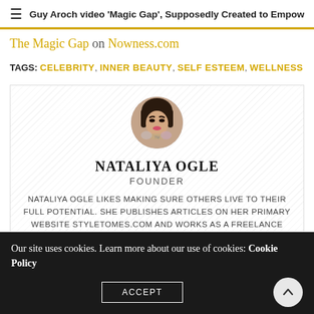Guy Aroch video 'Magic Gap', Supposedly Created to Empower W
The Magic Gap on Nowness.com
TAGS: CELEBRITY, INNER BEAUTY, SELF ESTEEM, WELLNESS
[Figure (photo): Circular avatar photo of Nataliya Ogle]
NATALIYA OGLE
FOUNDER
NATALIYA OGLE LIKES MAKING SURE OTHERS LIVE TO THEIR FULL POTENTIAL. SHE PUBLISHES ARTICLES ON HER PRIMARY WEBSITE STYLETOMES.COM AND WORKS AS A FREELANCE WRITER FOR
Our site uses cookies. Learn more about our use of cookies: Cookie Policy   ACCEPT